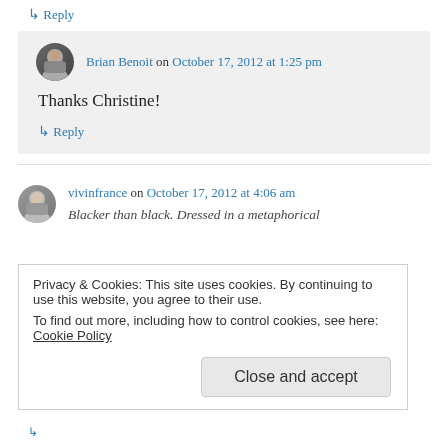↳ Reply
Brian Benoit on October 17, 2012 at 1:25 pm
Thanks Christine!
↳ Reply
vivinfrance on October 17, 2012 at 4:06 am
Blacker than black. Dressed in a metaphorical
Privacy & Cookies: This site uses cookies. By continuing to use this website, you agree to their use.
To find out more, including how to control cookies, see here: Cookie Policy
Close and accept